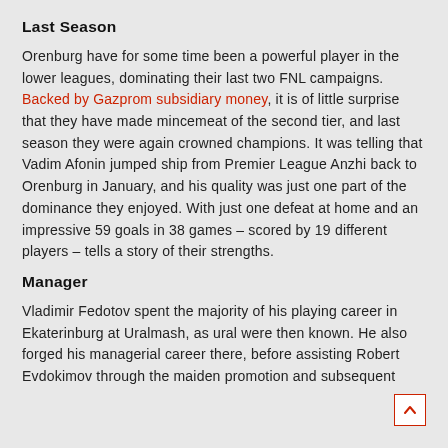Last Season
Orenburg have for some time been a powerful player in the lower leagues, dominating their last two FNL campaigns. Backed by Gazprom subsidiary money, it is of little surprise that they have made mincemeat of the second tier, and last season they were again crowned champions. It was telling that Vadim Afonin jumped ship from Premier League Anzhi back to Orenburg in January, and his quality was just one part of the dominance they enjoyed. With just one defeat at home and an impressive 59 goals in 38 games – scored by 19 different players – tells a story of their strengths.
Manager
Vladimir Fedotov spent the majority of his playing career in Ekaterinburg at Uralmash, as ural were then known. He also forged his managerial career there, before assisting Robert Evdokimov through the maiden promotion and subsequent